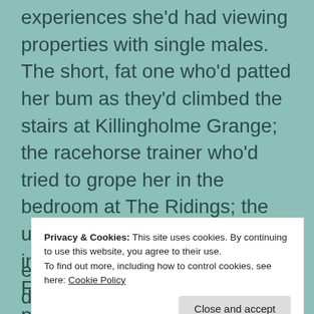experiences she'd had viewing properties with single males. The short, fat one who'd patted her bum as they'd climbed the stairs at Killingholme Grange; the racehorse trainer who'd tried to grope her in the bedroom at The Ridings; the ugly businessman who'd stood in the kitchen of Oxenholme Farm and promised to purchase the property on condition she had sex with him. (Just joking love; just joking).
Privacy & Cookies: This site uses cookies. By continuing to use this website, you agree to their use.
To find out more, including how to control cookies, see here: Cookie Policy
Close and accept
exactly was it he'd actually done? Nothing! He